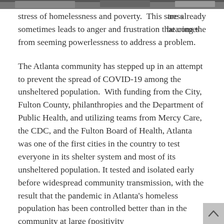[Figure (photo): Partial photo strip visible at top of page, showing people in a monochrome/dark image]
are already bearing the stress of homelessness and poverty.  This stress sometimes leads to anger and frustration that comes from seeming powerlessness to address a problem.
The Atlanta community has stepped up in an attempt to prevent the spread of COVID-19 among the unsheltered population.  With funding from the City, Fulton County, philanthropies and the Department of Public Health, and utilizing teams from Mercy Care, the CDC, and the Fulton Board of Health, Atlanta was one of the first cities in the country to test everyone in its shelter system and most of its unsheltered population. It tested and isolated early before widespread community transmission, with the result that the pandemic in Atlanta's homeless population has been controlled better than in the community at large (positivity